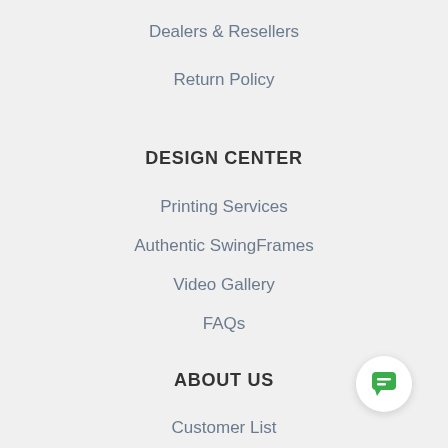Dealers & Resellers
Return Policy
DESIGN CENTER
Printing Services
Authentic SwingFrames
Video Gallery
FAQs
ABOUT US
Customer List
Satisfaction Guarantee
Privacy Policy
Terms and Conditions
[Figure (illustration): Green chat bubble icon in a white circular button, positioned bottom-right corner]